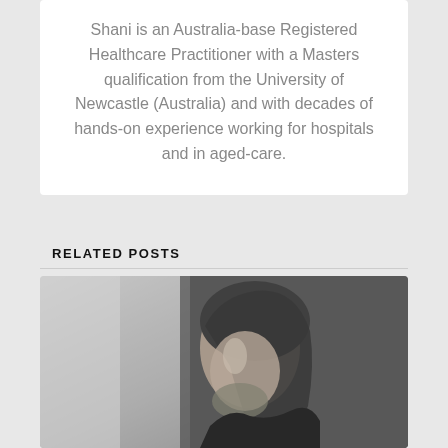Shani is an Australia-base Registered Healthcare Practitioner with a Masters qualification from the University of Newcastle (Australia) and with decades of hands-on experience working for hospitals and in aged-care.
RELATED POSTS
[Figure (photo): Black and white photo of a person with long hair, looking downward with hand near face, appearing contemplative or distressed.]